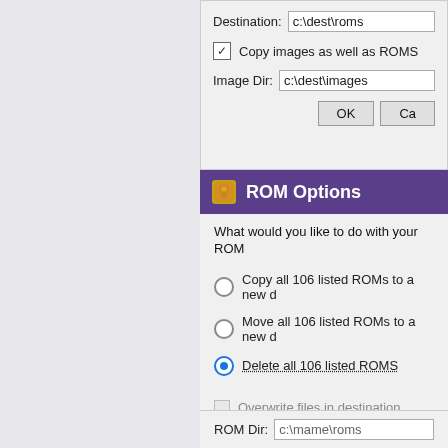Destination: c:\dest\roms
Copy images as well as ROMS
Image Dir: c:\dest\images
OK  Ca
ROM Options
What would you like to do with your ROM
Copy all 106 listed ROMs to a new d
Move all 106 listed ROMs to a new d
Delete all 106 listed ROMS
Overwrite files in destination
Include parents of clones
ROM Dir: c:\mame\roms